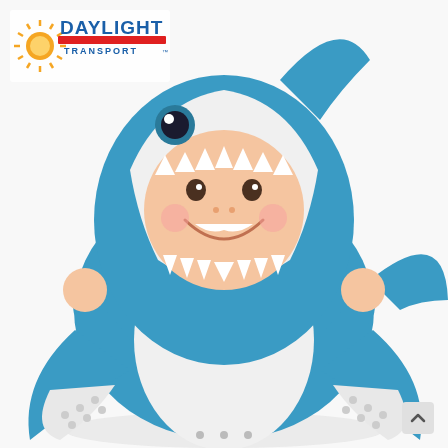[Figure (photo): A smiling baby wearing a blue and white shark Halloween costume. The costume features a shark head hood with jagged teeth framing the baby's face, blue fins on the sides, and blue flipper feet with white dotted grip pads. The background is white.]
[Figure (logo): Daylight Transport logo in the upper left corner. Features a yellow/orange sun burst on the left, a red horizontal bar, and blue text reading DAYLIGHT in bold with TRANSPORT in smaller blue text below.]